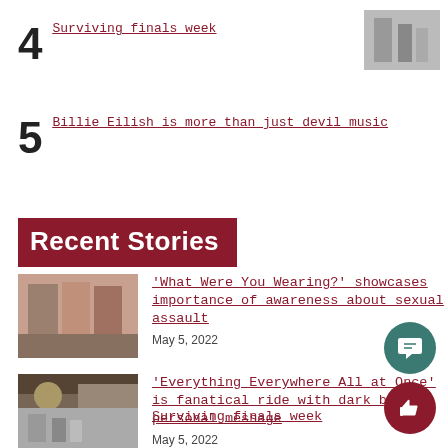4 Surviving finals week
[Figure (photo): Thumbnail photo of finals week related image]
5 Billie Eilish is more than just devil music
Recent Stories
[Figure (photo): Clothing display exhibit photo]
'What Were You Wearing?' showcases importance of awareness about sexual assault
May 5, 2022
[Figure (photo): Movie still from Everything Everywhere All at Once]
'Everything Everywhere All at Once' is fanatical ride with dark but personal message
May 5, 2022
[Figure (photo): Surviving finals week thumbnail]
Surviving finals week